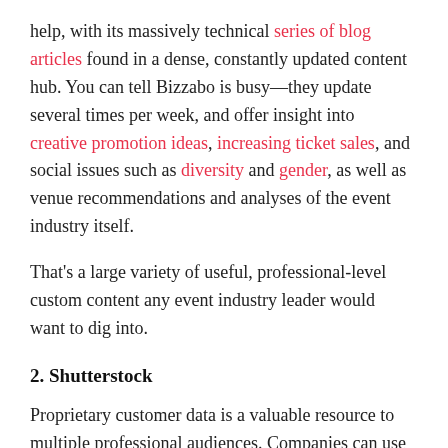help, with its massively technical series of blog articles found in a dense, constantly updated content hub. You can tell Bizzabo is busy—they update several times per week, and offer insight into creative promotion ideas, increasing ticket sales, and social issues such as diversity and gender, as well as venue recommendations and analyses of the event industry itself.
That's a large variety of useful, professional-level custom content any event industry leader would want to dig into.
2. Shutterstock
Proprietary customer data is a valuable resource to multiple professional audiences. Companies can use it to predict customer trends to stay ahead of the curve. They can also offer that data up for other organizations, so they get a high-level view